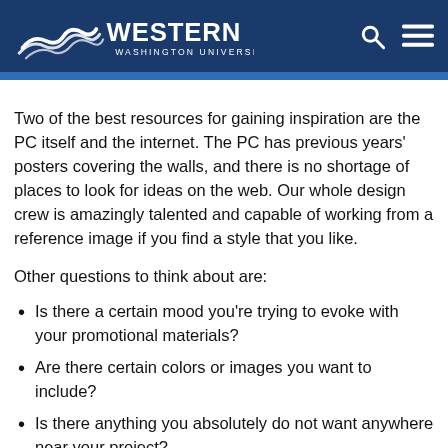Western Washington University
Two of the best resources for gaining inspiration are the PC itself and the internet. The PC has previous years' posters covering the walls, and there is no shortage of places to look for ideas on the web. Our whole design crew is amazingly talented and capable of working from a reference image if you find a style that you like.
Other questions to think about are:
Is there a certain mood you're trying to evoke with your promotional materials?
Are there certain colors or images you want to include?
Is there anything you absolutely do not want anywhere near your project?